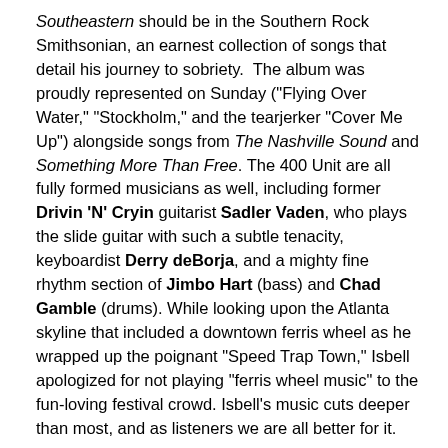Southeastern should be in the Southern Rock Smithsonian, an earnest collection of songs that detail his journey to sobriety. The album was proudly represented on Sunday ("Flying Over Water," "Stockholm," and the tearjerker "Cover Me Up") alongside songs from The Nashville Sound and Something More Than Free. The 400 Unit are all fully formed musicians as well, including former Drivin 'N' Cryin guitarist Sadler Vaden, who plays the slide guitar with such a subtle tenacity, keyboardist Derry deBorja, and a mighty fine rhythm section of Jimbo Hart (bass) and Chad Gamble (drums). While looking upon the Atlanta skyline that included a downtown ferris wheel as he wrapped up the poignant "Speed Trap Town," Isbell apologized for not playing "ferris wheel music" to the fun-loving festival crowd. Isbell's music cuts deeper than most, and as listeners we are all better for it.